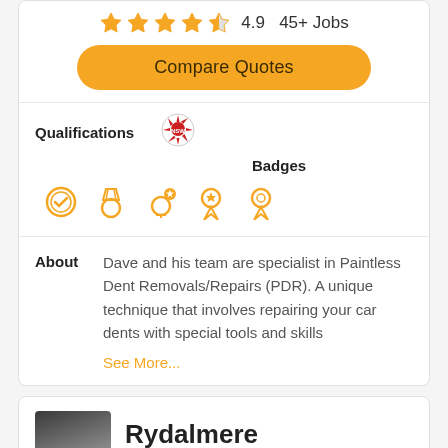[Figure (other): Star rating display: 4 full gold stars and 1 half gold star]
4.9   45+ Jobs
Compare Quotes
Qualifications
[Figure (logo): NSW government badge/logo]
Badges
[Figure (other): Five gold badge/medal icons in a row]
About
Dave and his team are specialist in Paintless Dent Removals/Repairs (PDR). A unique technique that involves repairing your car dents with special tools and skills
See More...
Rydalmere